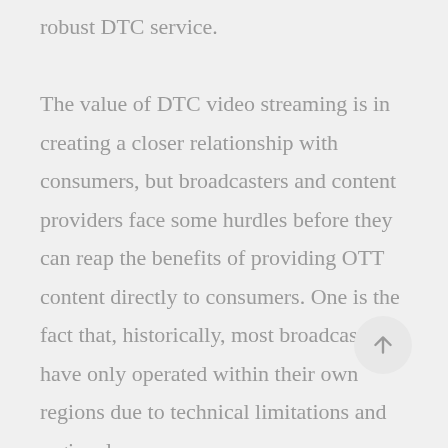robust DTC service. The value of DTC video streaming is in creating a closer relationship with consumers, but broadcasters and content providers face some hurdles before they can reap the benefits of providing OTT content directly to consumers. One is the fact that, historically, most broadcasters have only operated within their own regions due to technical limitations and regional